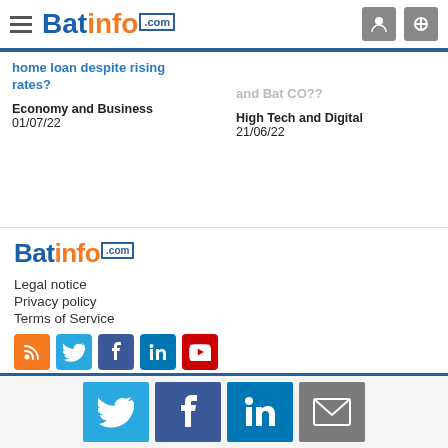Batinfo.com
home loan despite rising rates?
Economy and Business
01/07/22
and Bat CO?? 
High Tech and Digital
21/06/22
[Figure (logo): Batinfo.com footer logo]
Legal notice
Privacy policy
Terms of Service
[Figure (infographic): Social media icons: RSS, Twitter, Facebook, LinkedIn, YouTube]
Share icons: Twitter, Facebook, LinkedIn, Email